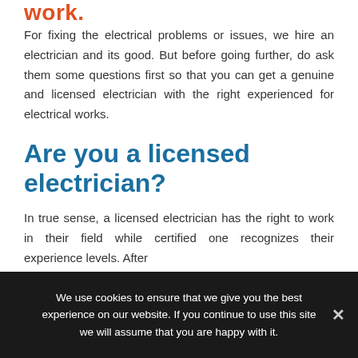work.
For fixing the electrical problems or issues, we hire an electrician and its good. But before going further, do ask them some questions first so that you can get a genuine and licensed electrician with the right experienced for electrical works.
Are you a licensed electrician?
In true sense, a licensed electrician has the right to work in their field while certified one recognizes their experience levels. After
We use cookies to ensure that we give you the best experience on our website. If you continue to use this site we will assume that you are happy with it.